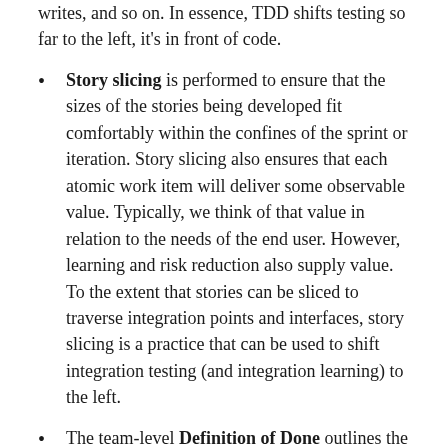writes, and so on. In essence, TDD shifts testing so far to the left, it's in front of code.
Story slicing is performed to ensure that the sizes of the stories being developed fit comfortably within the confines of the sprint or iteration. Story slicing also ensures that each atomic work item will deliver some observable value. Typically, we think of that value in relation to the needs of the end user. However, learning and risk reduction also supply value. To the extent that stories can be sliced to traverse integration points and interfaces, story slicing is a practice that can be used to shift integration testing (and integration learning) to the left.
The team-level Definition of Done outlines the criteria that must be met for the work of a given iteration to be considered complete. The team-level Definition of Done shifts testing to the left of the